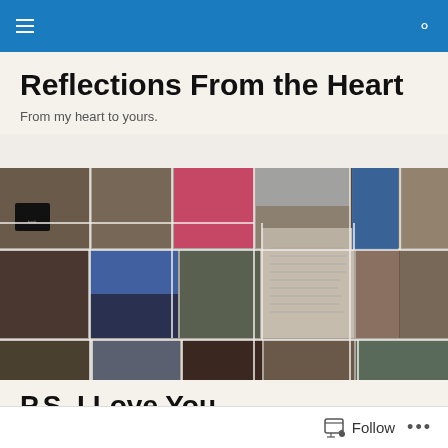Reflections From the Heart
From my heart to yours.
[Figure (photo): Collage of many photos showing people holding a book titled 'Choices of the Heart', arranged in a grid mosaic pattern across three rows.]
P.S. I Love You
Follow  ...